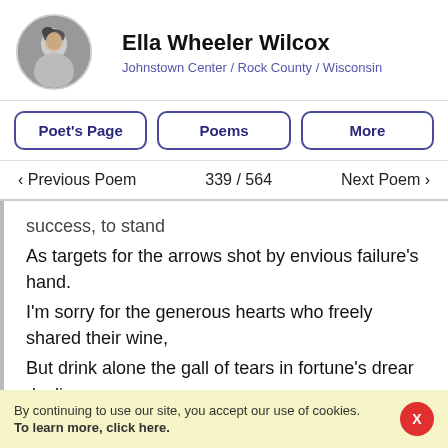Ella Wheeler Wilcox
Johnstown Center / Rock County / Wisconsin
Poet's Page | Poems | More
< Previous Poem   339 / 564   Next Poem >
success, to stand
As targets for the arrows shot by envious failure's hand.
I'm sorry for the generous hearts who freely shared their wine,
But drink alone the gall of tears in fortune's drear decline.
By continuing to use our site, you accept our use of cookies. To learn more, click here.